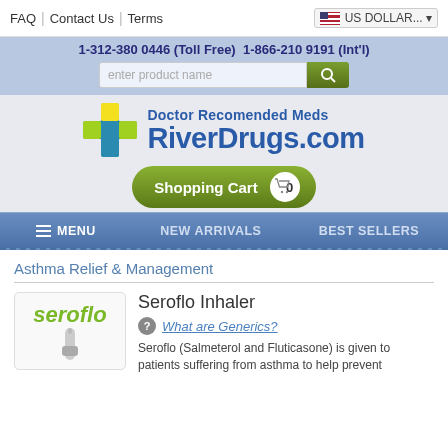FAQ | Contact Us | Terms   US DOLLAR...
1-312-380 0446 (Toll Free)  1-866-210 9191 (Int'l)
[Figure (logo): RiverDrugs.com logo with colorful cross icon and tagline 'Doctor Recomended Meds']
Shopping Cart  0
MENU  NEW ARRIVALS  BEST SELLERS
Asthma Relief & Management
[Figure (photo): Seroflo inhaler product image with 'seroflo' brand name in green text]
Seroflo Inhaler
What are Generics?
Seroflo (Salmeterol and Fluticasone) is given to patients suffering from asthma to help prevent